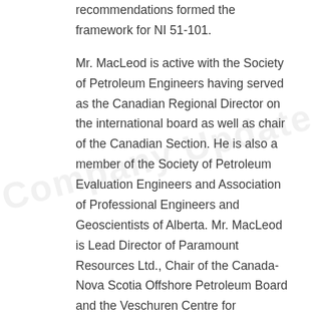recommendations formed the framework for NI 51-101.
Mr. MacLeod is active with the Society of Petroleum Engineers having served as the Canadian Regional Director on the international board as well as chair of the Canadian Section. He is also a member of the Society of Petroleum Evaluation Engineers and Association of Professional Engineers and Geoscientists of Alberta. Mr. MacLeod is Lead Director of Paramount Resources Ltd., Chair of the Canada-Nova Scotia Offshore Petroleum Board and the Veschuren Centre for Sustainability in Energy and the Environment at Cape Breton University. He is also a director of Prairie Storm and ETX Systems Inc.